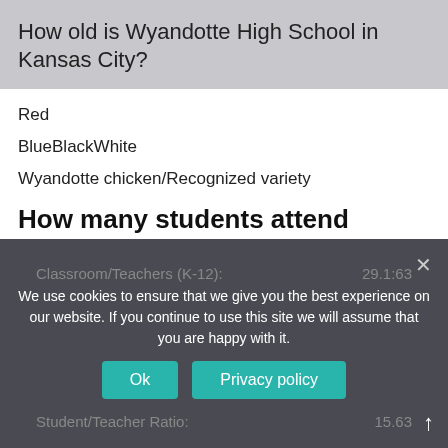How old is Wyandotte High School in Kansas City?
Red
BlueBlackWhite
Wyandotte chicken/Recognized variety
How many students attend Wyandotte Public Schools?
4,562
|  |  |
| --- | --- |
| Total Students: | 4,562 |
| Classroom/Teachers (K-12): | 29.1:63 |
| Student/Teacher Ratio: | 15.63 |
We use cookies to ensure that we give you the best experience on our website. If you continue to use this site we will assume that you are happy with it.